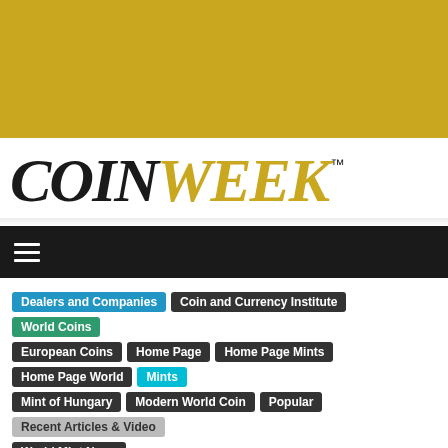[Figure (other): Gold/yellow banner at top of page]
COINWEEK™
[Figure (other): Dark navigation bar with hamburger menu icon]
Dealers and Companies
Coin and Currency Institute
World Coins
European Coins
Home Page
Home Page Mints
Home Page World
Mints
Mint of Hungary
Modern World Coin
Popular
Recent Articles & Video
World Mint News
Hungarian Greyhound the